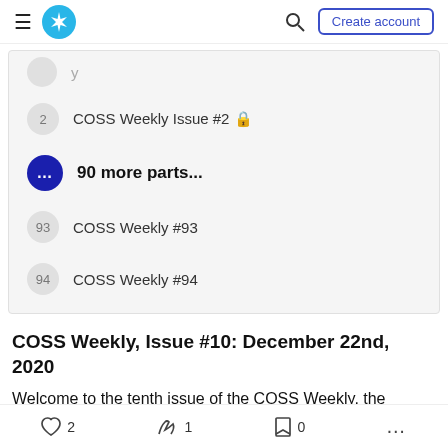Medium navigation bar with hamburger menu, logo, search icon, and Create account button
2  COSS Weekly Issue #2 🔒
... 90 more parts...
93  COSS Weekly #93
94  COSS Weekly #94
COSS Weekly, Issue #10: December 22nd, 2020
Welcome to the tenth issue of the COSS Weekly, the
♡ 2  🔥 1  🔖 0  ...